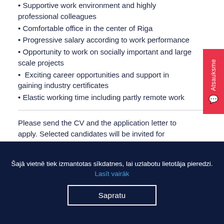Supportive work environment and highly professional colleagues
Comfortable office in the center of Riga
Progressive salary according to work performance
Opportunity to work on socially important and large scale projects
Exciting career opportunities and support in gaining industry certificates
Elastic working time including partly remote work
Please send the CV and the application letter to apply. Selected candidates will be invited for interviews.
Šajā vietnē tiek izmantotas sīkdatnes, lai uzlabotu lietotāja pieredzi. Lasīt vairāk
Sapratu